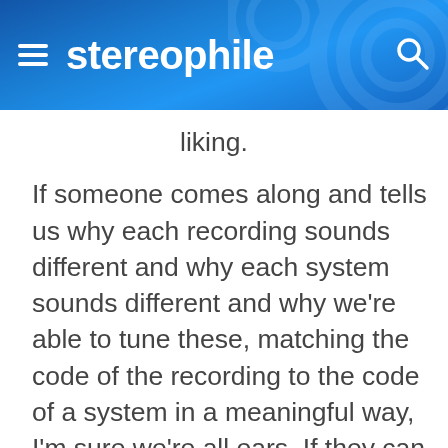stereophile
liking.

If someone comes along and tells us why each recording sounds different and why each system sounds different and why we're able to tune these, matching the code of the recording to the code of a system in a meaningful way, I'm sure we're all ears. If they can tell us why the cycles themselves as individual units are able to be adjusted in value to perform differently not only